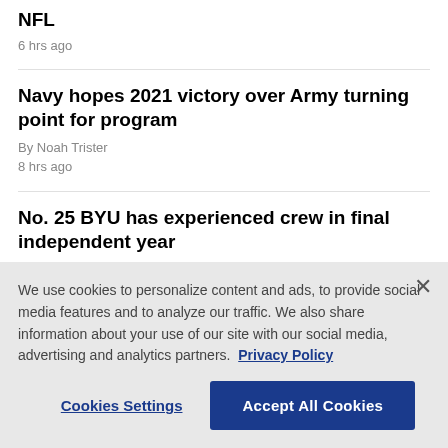NFL
6 hrs ago
Navy hopes 2021 victory over Army turning point for program
By Noah Trister
8 hrs ago
No. 25 BYU has experienced crew in final independent year
By John Coon
We use cookies to personalize content and ads, to provide social media features and to analyze our traffic. We also share information about your use of our site with our social media, advertising and analytics partners. Privacy Policy
Cookies Settings
Accept All Cookies